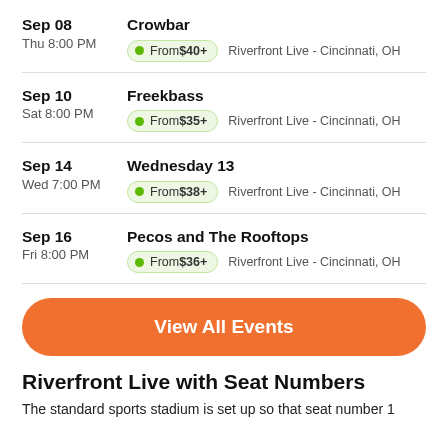Sep 08 Thu 8:00 PM | Crowbar | From $40+ | Riverfront Live - Cincinnati, OH
Sep 10 Sat 8:00 PM | Freekbass | From $35+ | Riverfront Live - Cincinnati, OH
Sep 14 Wed 7:00 PM | Wednesday 13 | From $38+ | Riverfront Live - Cincinnati, OH
Sep 16 Fri 8:00 PM | Pecos and The Rooftops | From $36+ | Riverfront Live - Cincinnati, OH
View All Events
Riverfront Live with Seat Numbers
The standard sports stadium is set up so that seat number 1